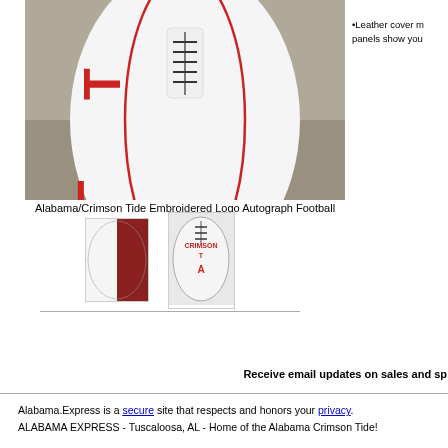[Figure (photo): Close-up of a white Alabama/Crimson Tide autograph football showing laces and red lettering on a stone surface]
•Leather cover m panels show you
Alabama/Crimson Tide Embroidered Logo Autograph Football
[Figure (photo): Thumbnail showing side view of autograph football, half white half brown]
[Figure (photo): Thumbnail showing back view of autograph football with CRIMSON T lettering and Alabama logo]
Receive email updates on sales and sp
Alabama.Express is a secure site that respects and honors your privacy. ALABAMA EXPRESS - Tuscaloosa, AL - Home of the Alabama Crimson Tide!